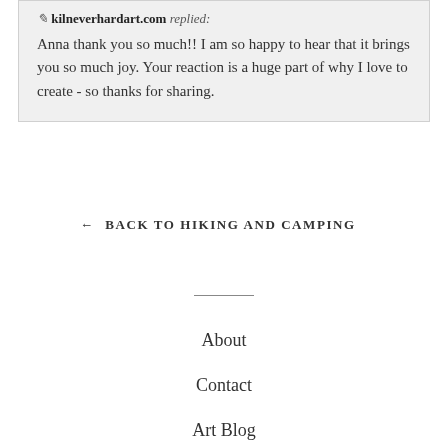kilneverhardart.com replied.
Anna thank you so much!! I am so happy to hear that it brings you so much joy. Your reaction is a huge part of why I love to create - so thanks for sharing.
← BACK TO HIKING AND CAMPING
About
Contact
Art Blog